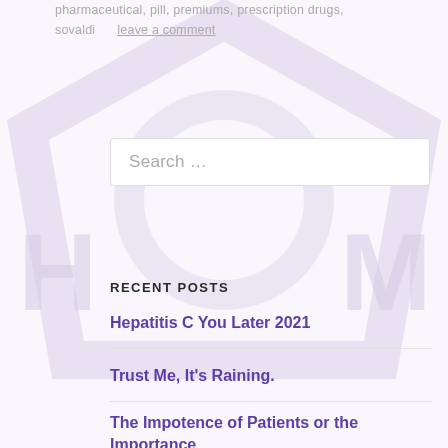pharmaceutical, pill, premiums, prescription drugs, sovaldi     leave a comment
[Figure (illustration): Faded background watermark/logo showing a circular shield-like emblem with letters H and M visible on the sides]
Search …
RECENT POSTS
Hepatitis C You Later 2021
Trust Me, It's Raining.
The Impotence of Patients or the Importance of Patience